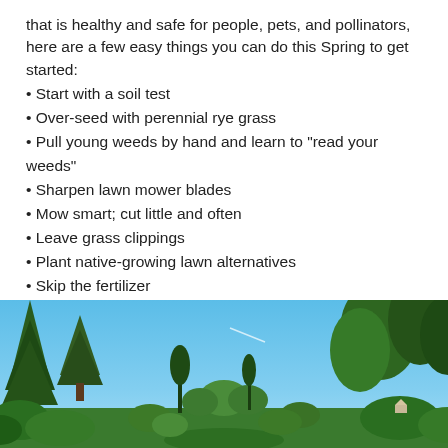that is healthy and safe for people, pets, and pollinators, here are a few easy things you can do this Spring to get started:
Start with a soil test
Over-seed with perennial rye grass
Pull young weeds by hand and learn to "read your weeds"
Sharpen lawn mower blades
Mow smart; cut little and often
Leave grass clippings
Plant native-growing lawn alternatives
Skip the fertilizer
[Figure (photo): Outdoor garden/yard scene with tall conifer trees on left, green leafy trees on right, clear blue sky in the center background, and lush green vegetation in the foreground.]